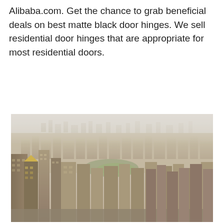Alibaba.com. Get the chance to grab beneficial deals on best matte black door hinges. We sell residential door hinges that are appropriate for most residential doors.
[Figure (photo): Aerial view of a dense urban cityscape, likely New York City, photographed from a high vantage point showing skyscrapers and city blocks receding into a hazy horizon.]